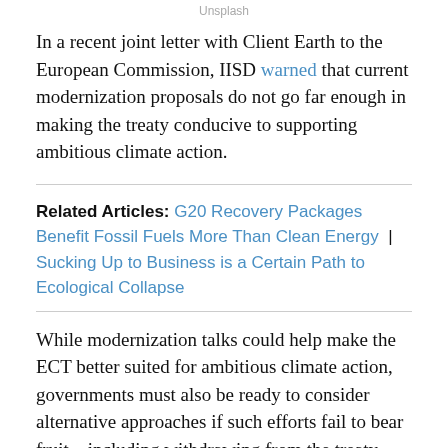Unsplash
In a recent joint letter with Client Earth to the European Commission, IISD warned that current modernization proposals do not go far enough in making the treaty conducive to supporting ambitious climate action.
Related Articles: G20 Recovery Packages Benefit Fossil Fuels More Than Clean Energy | Sucking Up to Business is a Certain Path to Ecological Collapse
While modernization talks could help make the ECT better suited for ambitious climate action, governments must also be ready to consider alternative approaches if such efforts fail to bear fruit—including withdrawing from the treaty